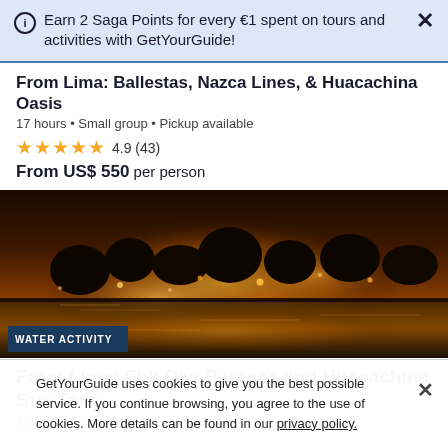Earn 2 Saga Points for every €1 spent on tours and activities with GetYourGuide!
From Lima: Ballestas, Nazca Lines, & Huacachina Oasis
17 hours • Small group • Pickup available
★★★★★ 4.9 (43)
From US$ 550 per person
[Figure (photo): Aerial or landscape photo of an illuminated oasis or wetland area at dusk/night with warm golden lighting and water reflections. Badge reads WATER ACTIVITY.]
From Lima: Full-Day Paracas and Huacachina Bus Tour
1 day • Skip the line • Pickup available
GetYourGuide uses cookies to give you the best possible service. If you continue browsing, you agree to the use of cookies. More details can be found in our privacy policy.